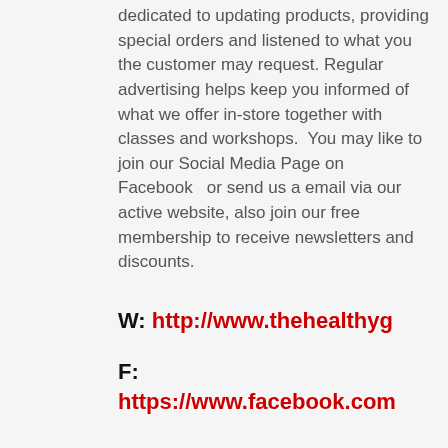dedicated to updating products, providing special orders and listened to what you the customer may request. Regular advertising helps keep you informed of what we offer in-store together with classes and workshops.  You may like to join our Social Media Page on Facebook   or send us a email via our active website, also join our free membership to receive newsletters and discounts.
W: http://www.thehealthyg
F: https://www.facebook.com
P:  (07) 5439 0097